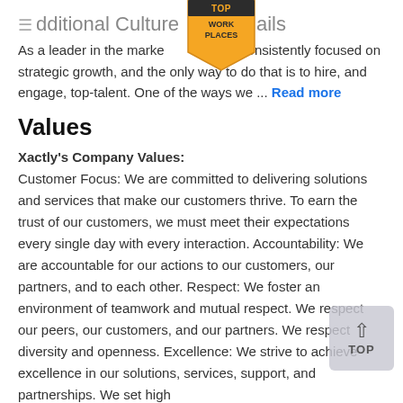Additional Culture Details
[Figure (logo): Top Work Places badge — gold/yellow ribbon-style award badge with text TOP WORK PLACES]
As a leader in the marketplace, consistently focused on strategic growth, and the only way to do that is to hire, and engage, top-talent. One of the ways we ... Read more
Values
Xactly's Company Values: Customer Focus: We are committed to delivering solutions and services that make our customers thrive. To earn the trust of our customers, we must meet their expectations every single day with every interaction. Accountability: We are accountable for our actions to our customers, our partners, and to each other. Respect: We foster an environment of teamwork and mutual respect. We respect our peers, our customers, and our partners. We respect diversity and openness. Excellence: We strive to achieve excellence in our solutions, services, support, and partnerships. We set high